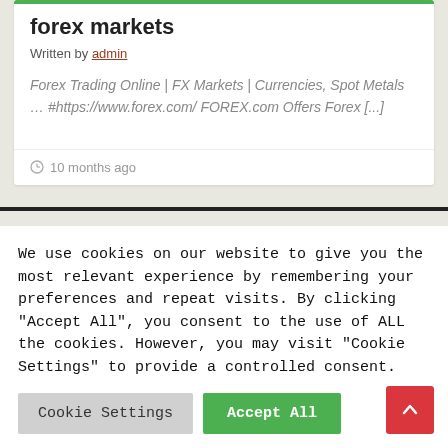forex markets
Written by admin
Forex Trading Online | FX Markets | Currencies, Spot Metals … #https://www.forex.com/ FOREX.com Offers Forex [...]
10 months ago
We use cookies on our website to give you the most relevant experience by remembering your preferences and repeat visits. By clicking "Accept All", you consent to the use of ALL the cookies. However, you may visit "Cookie Settings" to provide a controlled consent.
Cookie Settings
Accept All